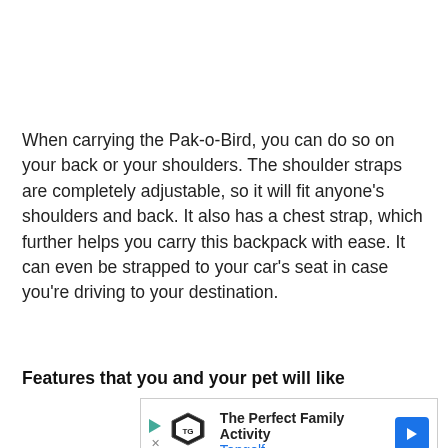When carrying the Pak-o-Bird, you can do so on your back or your shoulders. The shoulder straps are completely adjustable, so it will fit anyone's shoulders and back. It also has a chest strap, which further helps you carry this backpack with ease. It can even be strapped to your car's seat in case you're driving to your destination.
Features that you and your pet will like
[Figure (other): Advertisement banner for Topgolf showing The Perfect Family Activity tagline with Topgolf logo and blue directional arrow button]